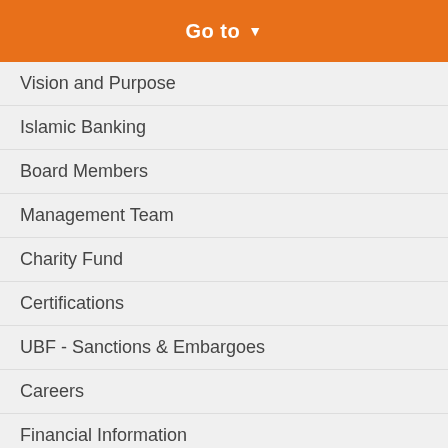[Figure (other): Orange button with text 'Go to' and a dropdown arrow]
Vision and Purpose
Islamic Banking
Board Members
Management Team
Charity Fund
Certifications
UBF - Sanctions & Embargoes
Careers
Financial Information
ESG Report
Service Promise
Code of Fair Treatment
Contact Us
[Figure (logo): Accessibility icon — person in wheelchair in a purple circle]
Write to Us